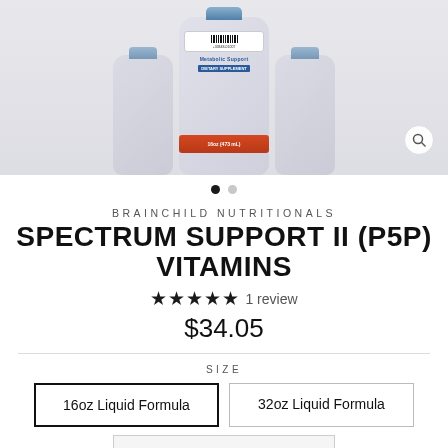[Figure (photo): Three bottles of Brainchild Nutritionals Spectrum Support II (P5P) Vitamins liquid supplement, 16oz (473mL), displayed side by side against a light gray background. A magnifying glass icon appears in the lower right corner of the image.]
BRAINCHILD NUTRITIONALS
SPECTRUM SUPPORT II (P5P) VITAMINS
★★★★★ 1 review
$34.05
SIZE
16oz Liquid Formula
32oz Liquid Formula
180...